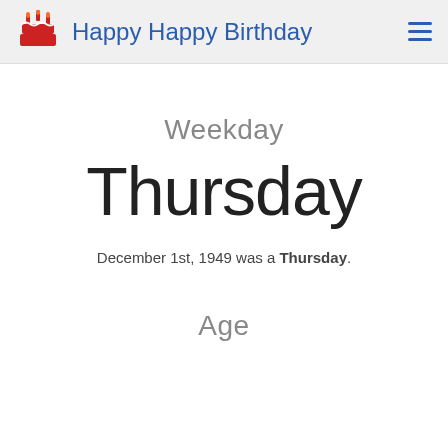Happy Happy Birthday
Weekday
Thursday
December 1st, 1949 was a Thursday.
Age